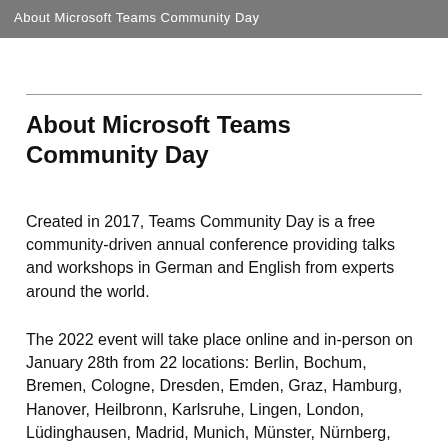About Microsoft Teams Community Day
About Microsoft Teams Community Day
Created in 2017, Teams Community Day is a free community-driven annual conference providing talks and workshops in German and English from experts around the world.
The 2022 event will take place online and in-person on January 28th from 22 locations: Berlin, Bochum, Bremen, Cologne, Dresden, Emden, Graz, Hamburg, Hanover, Heilbronn, Karlsruhe, Lingen, London, Lüdinghausen, Madrid, Munich, Münster, Nürnberg, OWL